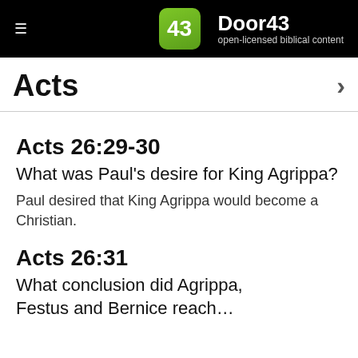Door43 open-licensed biblical content
Acts
Acts 26:29-30
What was Paul's desire for King Agrippa?
Paul desired that King Agrippa would become a Christian.
Acts 26:31
What conclusion did Agrippa, Festus and Bernice reach?